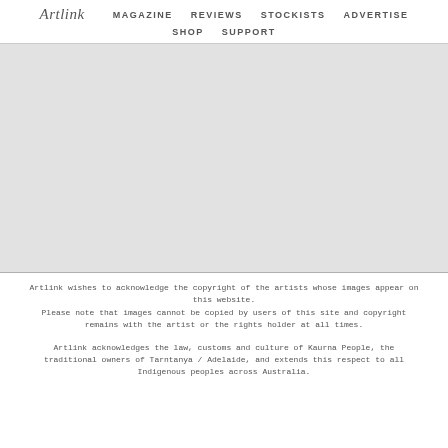Artlink  MAGAZINE  REVIEWS  STOCKISTS  ADVERTISE  SHOP  SUPPORT
[Figure (other): Large grey blank/empty content area]
Artlink wishes to acknowledge the copyright of the artists whose images appear on this website. Please note that images cannot be copied by users of this site and copyright remains with the artist or the rights holder at all times.
Artlink acknowledges the law, customs and culture of Kaurna People, the traditional owners of Tarntanya / Adelaide, and extends this respect to all Indigenous peoples across Australia.